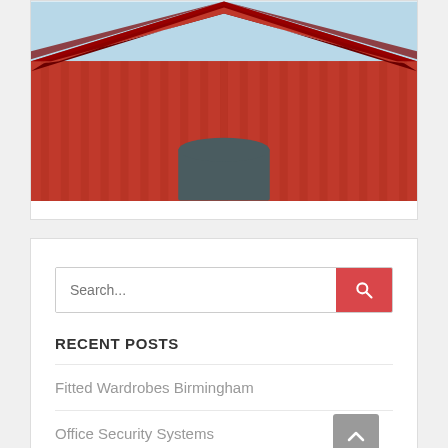[Figure (illustration): Illustration of a red barn roof with vertical stripes and a dark door/entrance visible at the bottom center. The roof has dark red chevron trim and a light blue sky is partially visible at the top.]
Search...
RECENT POSTS
Fitted Wardrobes Birmingham
Office Security Systems